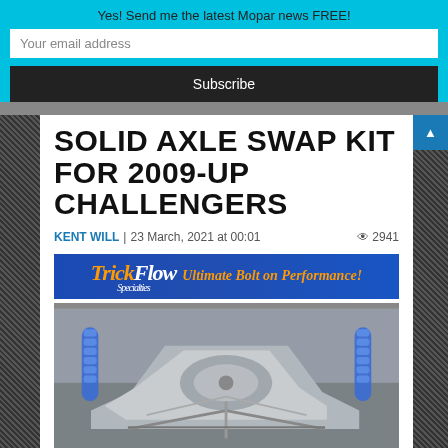Yes! Send me the latest Mopar news FREE!
Your email address
Subscribe
SOLID AXLE SWAP KIT FOR 2009-UP CHALLENGERS
KENT WILL | 23 March, 2021 at 00:01   2941
[Figure (photo): Advertisement banner for Trick Flow Specialties - Ultimate Bolt on Performance]
[Figure (photo): Undercarriage photo showing solid axle swap kit with blue coilover shocks installed on a Challenger]